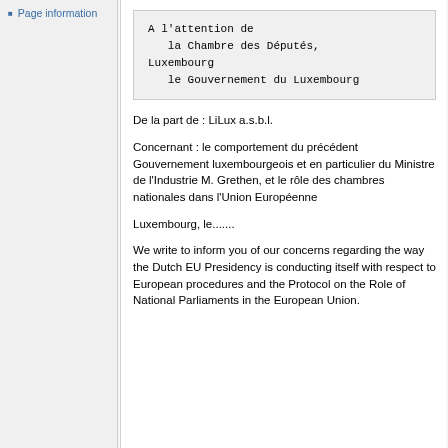Page information
A l'attention de
   la Chambre des Députés, Luxembourg
   le Gouvernement du Luxembourg
De la part de : LiLux a.s.b.l.
Concernant : le comportement du précédent Gouvernement luxembourgeois et en particulier du Ministre de l'Industrie M. Grethen, et le rôle des chambres nationales dans l'Union Européenne
Luxembourg, le.......
We write to inform you of our concerns regarding the way the Dutch EU Presidency is conducting itself with respect to European procedures and the Protocol on the Role of National Parliaments in the European Union.